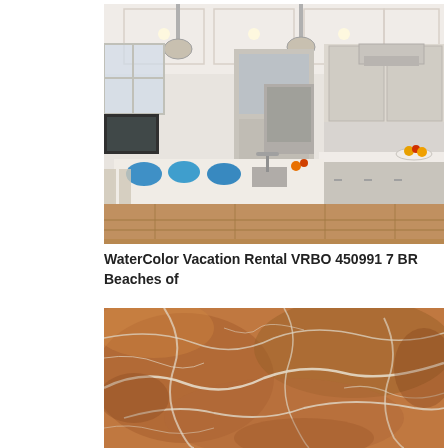[Figure (photo): Interior photo of a large, elegant kitchen with white/gray cabinets, marble island countertops, pendant lights, hardwood floors, and blue place settings on the kitchen island.]
WaterColor Vacation Rental VRBO 450991 7 BR Beaches of
[Figure (photo): Close-up photo of a brown/tan marble or granite surface with white veining patterns across it.]